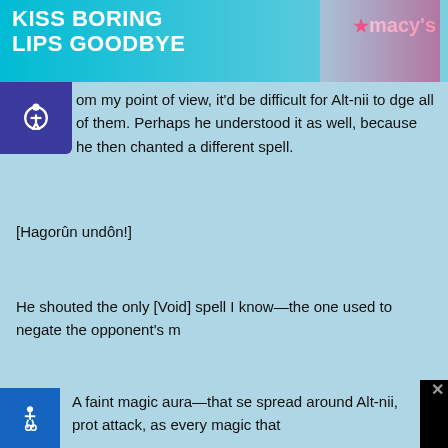[Figure (photo): Macy's banner advertisement showing red lips with text 'KISS BORING LIPS GOODBYE' and Macy's star logo]
om my point of view, it'd be difficult for Alt-nii to dge all of them. Perhaps he understood it as well, because he then chanted a different spell.
[Hagorûn undôn!]
He shouted the only [Void] spell I know—the one used to negate the opponent's m
A faint magic aura—that se spread around Alt-nii, prot attack, as every magic that
se cookies to ensure that we give you the best experience on
[Figure (screenshot): Black video player overlay with circle play indicator and close X button]
infolinks
[Figure (screenshot): Belk.com advertisement: 'Belk® - Official Site. Shop for clothing, handbags, jewelry, beauty, home & more! www.belk.com']